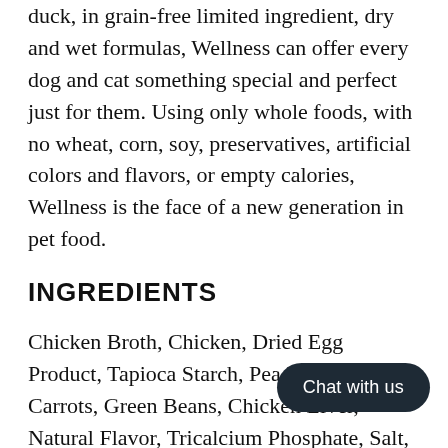duck, in grain-free limited ingredient, dry and wet formulas, Wellness can offer every dog and cat something special and perfect just for them. Using only whole foods, with no wheat, corn, soy, preservatives, artificial colors and flavors, or empty calories, Wellness is the face of a new generation in pet food.
INGREDIENTS
Chicken Broth, Chicken, Dried Egg Product, Tapioca Starch, Pea Protein, Beef, Carrots, Green Beans, Chicken Liver, Natural Flavor, Tricalcium Phosphate, Salt, Potassium Chloride, Guar Gum, Calcium Sulfate, Magnesium Sulfate, Minerals [Ferrous Glycine Complex, Zinc Glycine Complex, Manganese Glycine...